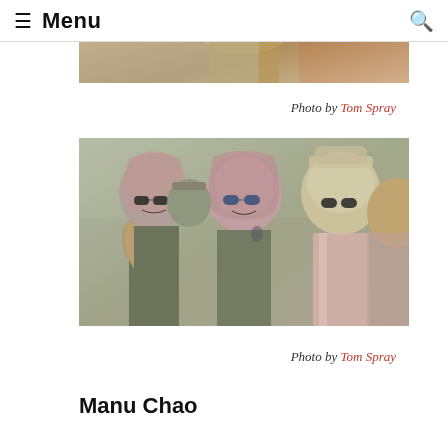≡ Menu
[Figure (photo): Partial view of a person in a tan/beige shirt with arms raised, cropped at the top of the page]
Photo by Tom Spray
[Figure (photo): Group of young men wearing sunglasses and keffiyeh head scarves at what appears to be a festival or concert]
Photo by Tom Spray
Manu Chao